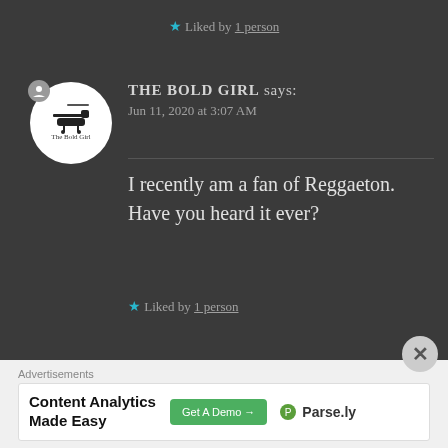★ Liked by 1 person
THE BOLD GIRL says: Jun 11, 2020 at 3:07 AM
I recently am a fan of Reggaeton. Have you heard it ever?
★ Liked by 1 person
Advertisements
Content Analytics Made Easy  Get A Demo →  Parse.ly